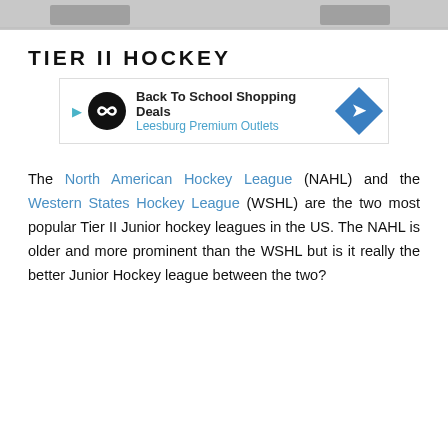[Figure (photo): Partial photo strip at top of page showing what appears to be hockey players, cropped]
TIER II HOCKEY
[Figure (other): Advertisement banner: Back To School Shopping Deals - Leesburg Premium Outlets]
The North American Hockey League (NAHL) and the Western States Hockey League (WSHL) are the two most popular Tier II Junior hockey leagues in the US. The NAHL is older and more prominent than the WSHL but is it really the better Junior Hockey league between the two?